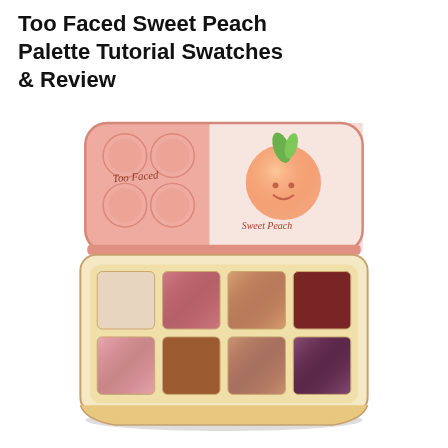Too Faced Sweet Peach Palette Tutorial Swatches & Review
[Figure (photo): Too Faced Sweet Peach eyeshadow palette open, showing 8 eyeshadow pans in warm peach, mauve, copper, burgundy, shimmer rose, brown, dusty rose, and deep plum shades. The palette lid is pink with embossed circular designs, a peach illustration, and the text 'Too Faced' and 'Sweet Peach' written in script.]